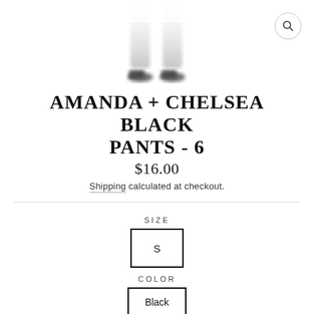[Figure (photo): Product photo showing legs wearing black pants, white background, blurred/faded look]
AMANDA + CHELSEA BLACK PANTS - 6
$16.00
Shipping calculated at checkout.
SIZE
S
COLOR
Black